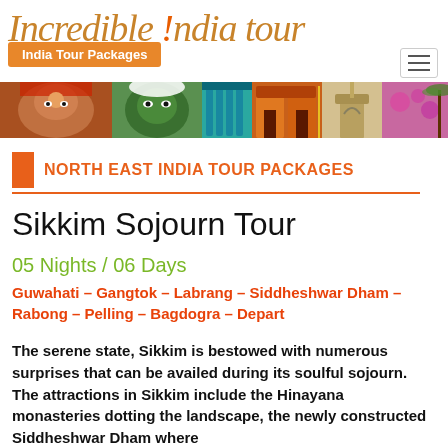Incredible !ndia tour — India Tour Packages
[Figure (photo): Collage banner strip showing Indian cultural images: a woman in traditional makeup, a Kathakali dancer, blue pillars, colorful monuments, India Gate, and palm trees]
NORTH EAST INDIA TOUR PACKAGES
Sikkim Sojourn Tour
05 Nights / 06 Days
Guwahati – Gangtok – Labrang – Siddheshwar Dham – Rabong – Pelling – Bagdogra – Depart
The serene state, Sikkim is bestowed with numerous surprises that can be availed during its soulful sojourn. The attractions in Sikkim include the Hinayana monasteries dotting the landscape, the newly constructed Siddheshwar Dham where